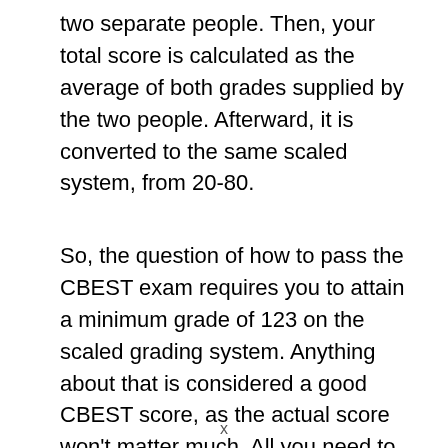two separate people. Then, your total score is calculated as the average of both grades supplied by the two people. Afterward, it is converted to the same scaled system, from 20-80.
So, the question of how to pass the CBEST exam requires you to attain a minimum grade of 123 on the scaled grading system. Anything about that is considered a good CBEST score, as the actual score won't matter much. All you need to do is pass to attain your certificate.
x